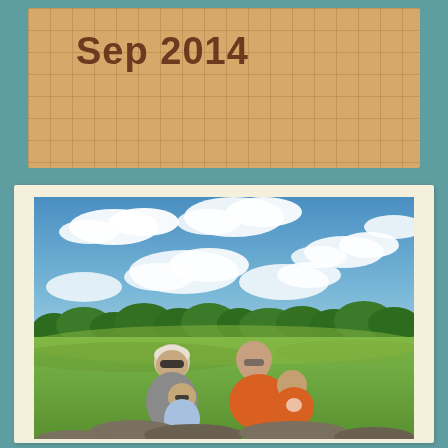Sep 2014
[Figure (photo): Family photo outdoors on a sunny day with blue sky and white clouds. Two adults and two young children sitting on rocks in a green field with trees in the background. One adult wears sunglasses and a gray shirt, the other wears an orange shirt. A young child in sunglasses sits in front, and a small girl in an orange shirt is held by the adult.]